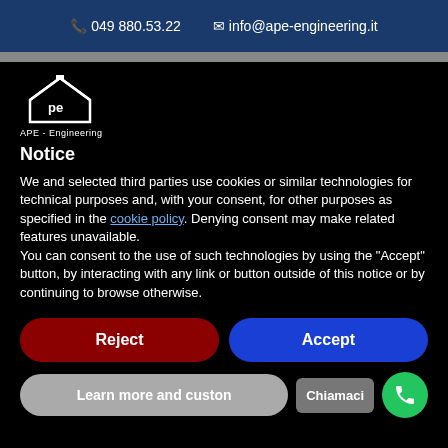049 880.53.22   info@ape-engineering.it
[Figure (logo): APE Engineering logo - white house/roof icon with 'pe' text inside, label 'APE - Engineering' below]
Notice
We and selected third parties use cookies or similar technologies for technical purposes and, with your consent, for other purposes as specified in the cookie policy. Denying consent may make related features unavailable.
You can consent to the use of such technologies by using the "Accept" button, by interacting with any link or button outside of this notice or by continuing to browse otherwise.
Reject
Accept
Learn more and custon
Chiamaci